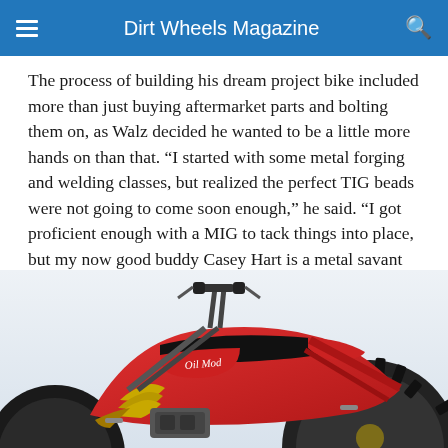Dirt Wheels Magazine
The process of building his dream project bike included more than just buying aftermarket parts and bolting them on, as Walz decided he wanted to be a little more hands on than that. “I started with some metal forging and welding classes, but realized the perfect TIG beads were not going to come soon enough,” he said. “I got proficient enough with a MIG to tack things into place, but my now good buddy Casey Hart is a metal savant who made metal do what I could not. He helped get me out of some deep holes that I dug.”
[Figure (photo): A custom red ATV/quad bike with a black seat, gold exhaust headers, large rear knobby tire, and handlebars visible at the top. The fuel tank has a cursive script logo. The bike is photographed against a light grey/white background.]